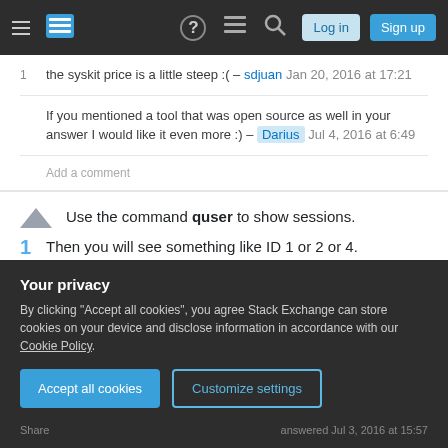Stack Exchange navigation bar with hamburger menu, logo, help, chat, search icons, Log in and Sign up buttons
the syskit price is a little steep :( – sdjuan Jan 20, 2016 at 17:21
If you mentioned a tool that was open source as well in your answer I would like it even more :) – Darius Jul 4, 2016 at 6:49
Add a comment
Use the command quser to show sessions.
1  Then you will see something like ID 1 or 2 or 4.
Your privacy
By clicking "Accept all cookies", you agree Stack Exchange can store cookies on your device and disclose information in accordance with our Cookie Policy.
Accept all cookies   Customize settings
Share   answered Jul 3, 2016 at 15:57